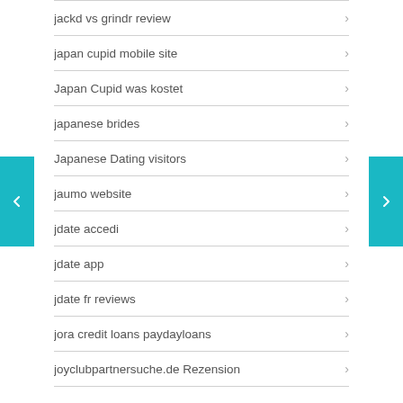jackd vs grindr review
japan cupid mobile site
Japan Cupid was kostet
japanese brides
Japanese Dating visitors
jaumo website
jdate accedi
jdate app
jdate fr reviews
jora credit loans paydayloans
joyclubpartnersuche.de Rezension